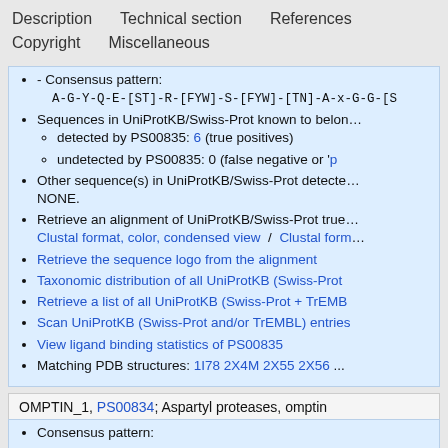Description   Technical section   References   Copyright   Miscellaneous
Consensus pattern: A-G-Y-Q-E-[ST]-R-[FYW]-S-[FYW]-[TN]-A-x-G-G-[S...
Sequences in UniProtKB/Swiss-Prot known to belong...
detected by PS00835: 6 (true positives)
undetected by PS00835: 0 (false negative or 'p...
Other sequence(s) in UniProtKB/Swiss-Prot detected... NONE.
Retrieve an alignment of UniProtKB/Swiss-Prot true... Clustal format, color, condensed view / Clustal form...
Retrieve the sequence logo from the alignment
Taxonomic distribution of all UniProtKB (Swiss-Prot...
Retrieve a list of all UniProtKB (Swiss-Prot + TrEMB...
Scan UniProtKB (Swiss-Prot and/or TrEMBL) entries...
View ligand binding statistics of PS00835
Matching PDB structures: 1I78 2X4M 2X55 2X56 ...
OMPTIN_1, PS00834; Aspartyl proteases, omptin...
Consensus pattern: